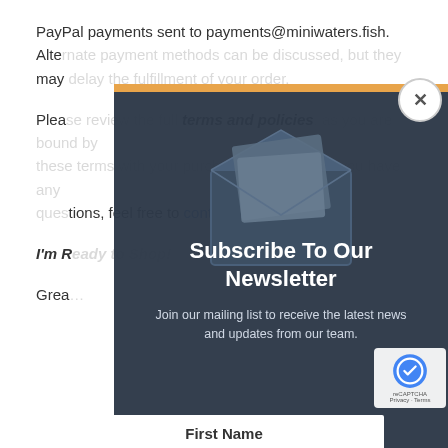PayPal payments sent to payments@miniwaters.fish. Alternate payment methods can be discussed, but they may delay the fulfillment of your order.
Please review the full terms and policies, as you are bound by these terms with your purchase. As always, if you have any questions, feel free to contact our pleasant staff.
I'm Ready to Shop!
Grea…
[Figure (screenshot): Dark overlay modal popup with close button (X), envelope illustration in background, newsletter subscription content]
Subscribe To Our Newsletter
Join our mailing list to receive the latest news and updates from our team.
First Name